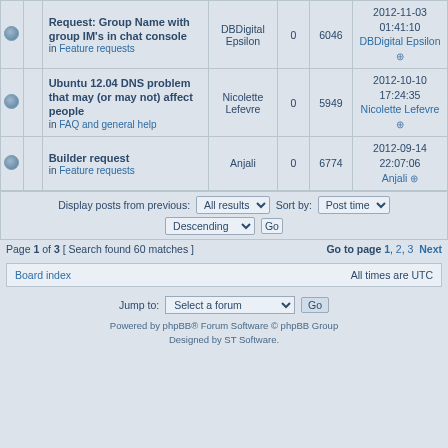|  |  | Topic | Author | Replies | Views | Last post |
| --- | --- | --- | --- | --- | --- | --- |
|  |  | Request: Group Name with group IM's in chat console
in Feature requests | DBDigital Epsilon | 0 | 6046 | 2012-11-03 01:41:10
DBDigital Epsilon |
|  |  | Ubuntu 12.04 DNS problem that may (or may not) affect people
in FAQ and general help | Nicolette Lefevre | 0 | 5949 | 2012-10-10 17:24:35
Nicolette Lefevre |
|  |  | Builder request
in Feature requests | Anjali | 0 | 6774 | 2012-09-14 22:07:06
Anjali |
Display posts from previous: All results  Sort by: Post time  Descending  Go
Page 1 of 3 [ Search found 60 matches ]  Go to page 1, 2, 3  Next
Board index  All times are UTC
Jump to:  Select a forum  Go
Powered by phpBB® Forum Software © phpBB Group
Designed by ST Software.